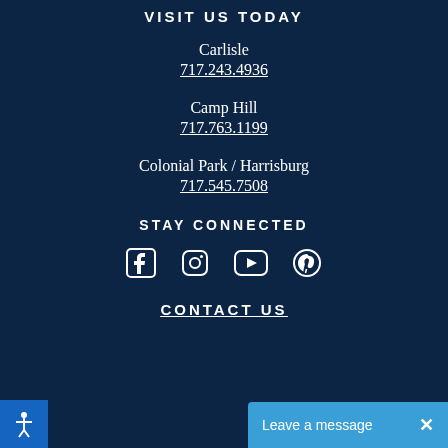VISIT US TODAY
Carlisle
717.243.4936
Camp Hill
717.763.1199
Colonial Park / Harrisburg
717.545.7508
STAY CONNECTED
[Figure (illustration): Four social media icons: Facebook, Instagram, YouTube, Pinterest]
CONTACT US
Leave a message